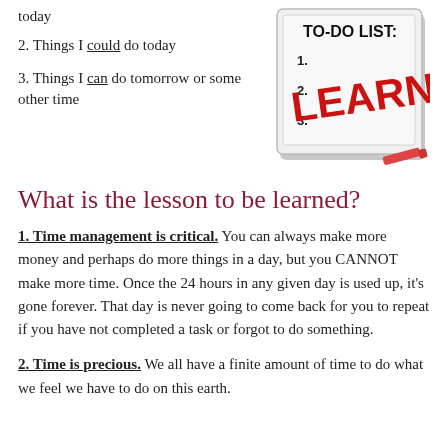today
2. Things I could do today
3. Things I can do tomorrow or some other time
[Figure (illustration): A whiteboard TO-DO LIST with the word LEARN written in red marker, numbered list 1, 2, 3]
What is the lesson to be learned?
1. Time management is critical. You can always make more money and perhaps do more things in a day, but you CANNOT make more time. Once the 24 hours in any given day is used up, it's gone forever. That day is never going to come back for you to repeat if you have not completed a task or forgot to do something.
2. Time is precious. We all have a finite amount of time to do what we feel we have to do on this earth.